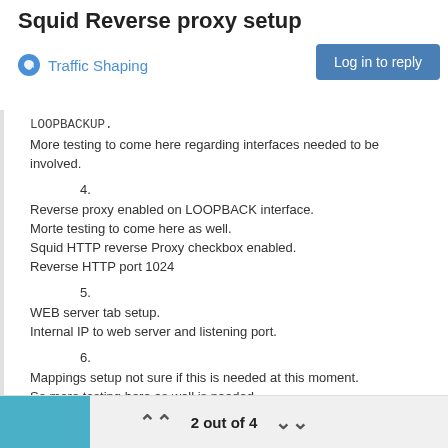Squid Reverse proxy setup
Traffic Shaping
LOOPBACKUP.
More testing to come here regarding interfaces needed to be involved.
4.
Reverse proxy enabled on LOOPBACK interface.
Morte testing to come here as well.
Squid HTTP reverse Proxy checkbox enabled.
Reverse HTTP port 1024
5.
WEB server tab setup.
Internal IP to web server and listening port.
6.
Mappings setup not sure if this is needed at this moment.
So more testing here as well is needed.
7.
Redirects not setup at the moment.
I guess this is needed to ensure that i can translate example
photo.mydomain.com -> internalwebserver/photo
2 out of 4